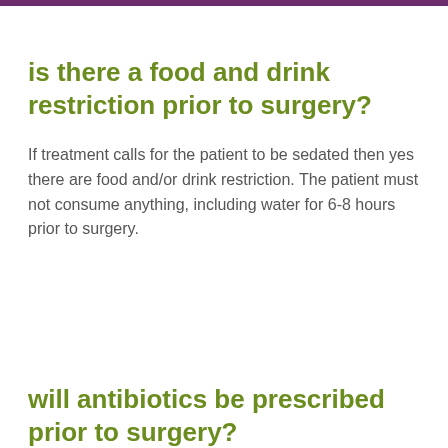is there a food and drink restriction prior to surgery?
If treatment calls for the patient to be sedated then yes there are food and/or drink restriction. The patient must not consume anything, including water for 6-8 hours prior to surgery.
will antibiotics be prescribed prior to surgery?